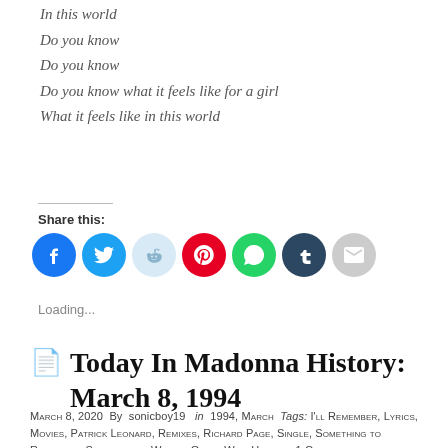In this world
Do you know
Do you know
Do you know what it feels like for a girl
What it feels like in this world
Share this:
[Figure (infographic): Social sharing icons: Facebook (blue), Twitter (blue), Reddit (light blue), Pinterest (red), WhatsApp (green), Tumblr (dark navy), Email (gray)]
Loading...
Today In Madonna History: March 8, 1994
March 8, 2020  By  sonicboy19   in  1994, March  Tags: I'll Remember, Lyrics, Movies, Patrick Leonard, Remixes, Richard Page, Single, Something to Remember, Soundtrack, William Orbit, With Honors  1 Comment